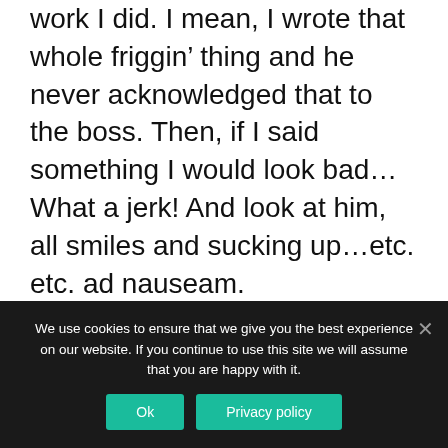work I did. I mean, I wrote that whole friggin' thing and he never acknowledged that to the boss. Then, if I said something I would look bad… What a jerk! And look at him, all smiles and sucking up…etc. etc. ad nauseam.
I was kind of shocked when I realized just how much of my thoughts are taken up with this kind of useless, harmful thinking.
And I was deeply grateful to learn a way to
We use cookies to ensure that we give you the best experience on our website. If you continue to use this site we will assume that you are happy with it.